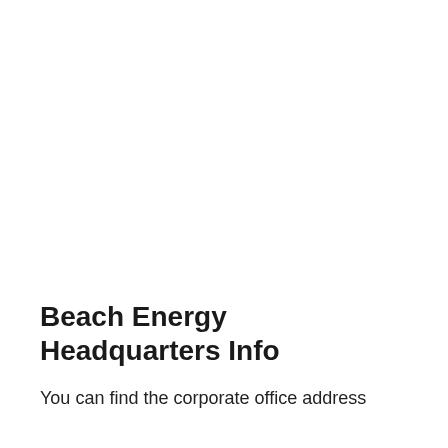Beach Energy Headquarters Info
You can find the corporate office address